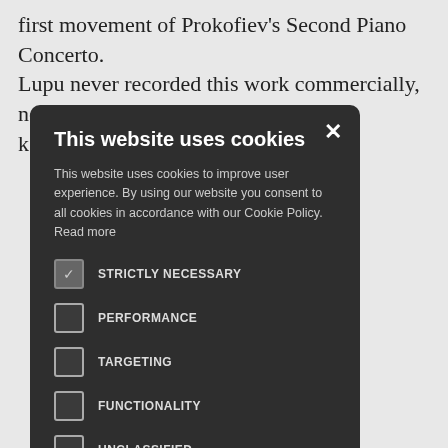first movement of Prokofiev's Second Piano Concerto. Lupu never recorded this work commercially, nor was he k…atter.
This website uses cookies
This website uses cookies to improve user experience. By using our website you consent to all cookies in accordance with our Cookie Policy. Read more
STRICTLY NECESSARY (checked)
PERFORMANCE
TARGETING
FUNCTIONALITY
UNCLASSIFIED
ACCEPT ALL
DECLINE ALL
SHOW DETAILS